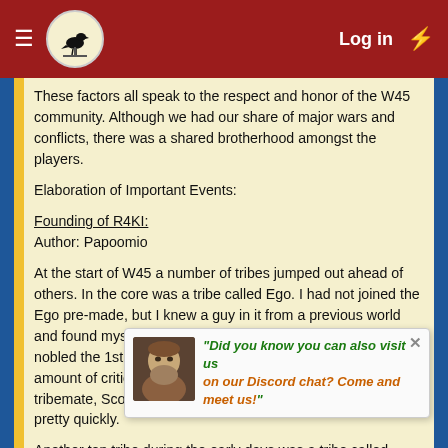≡ [logo] Log in ⚡
These factors all speak to the respect and honor of the W45 community. Although we had our share of major wars and conflicts, there was a shared brotherhood amongst the players.
Elaboration of Important Events:
Founding of R4KI:
Author: Papoomio
At the start of W45 a number of tribes jumped out ahead of others. In the core was a tribe called Ego. I had not joined the Ego pre-made, but I knew a guy in it from a previous world and found myself in Ego pretty quickly. Before too long, I nobled the 1st village on W45 and received a tremendous amount of criticism for it, but it worked out and along with my tribemate, Scoregasm to my north we dominated the area pretty quickly.
Another top tribe during the early days was a tribe called R4KI. There was good will between Ego and R4KI, as apparently a lot of members knew each other. When I found out that my old
"Did you know you can also visit us on our Discord chat? Come and meet us!